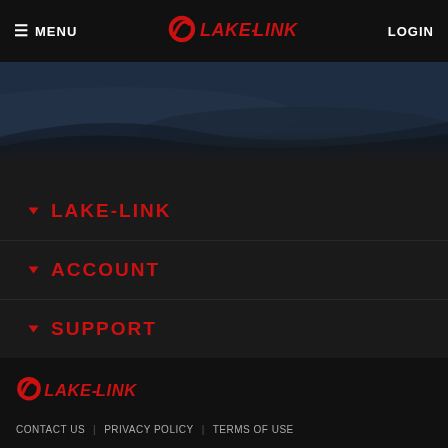MENU | Lake-Link | LOGIN
[Figure (screenshot): Dark hero banner image showing a lake scene at dusk]
LAKE-LINK
ACCOUNT
SUPPORT
[Figure (logo): Lake-Link logo in red and white]
CONTACT US   PRIVACY POLICY   TERMS OF USE
Copyright © 2022 Lake-Link Inc. All rights reserved. No portion of this website can be used or distributed without prior written consent of Lake-Link, Inc. This website may contain affiliate links, meaning when you click the links and make a purchase, we receive a small commission